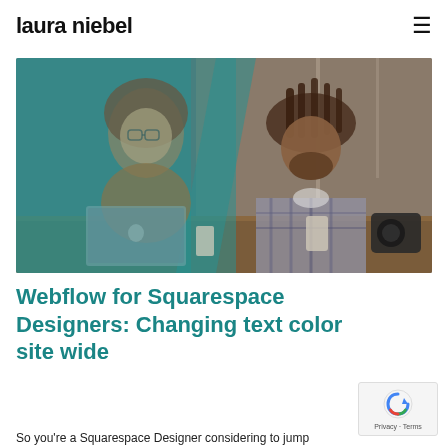laura niebel
[Figure (photo): Two people sitting at a table in a cafe, one a woman with red hair wearing glasses and an orange sweater viewed through a teal/green-tinted split, the other a man with dreadlocks in a plaid shirt laughing, with a laptop, drinks, and a camera on the table.]
Webflow for Squarespace Designers: Changing text color site wide
So you're a Squarespace Designer considering to jump